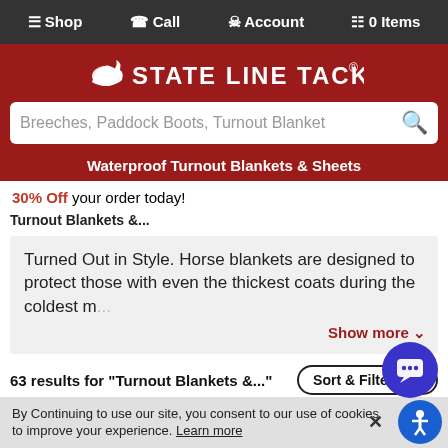≡ Shop  Call  Account  0 Items
[Figure (logo): State Line Tack logo with white horse icon on red background]
Breeches, Paddock Boots, Turnout Blanket
Waterproof Turnout Blankets & Sheets
30% Off your order today!
Turnout Blankets &...
Turned Out in Style. Horse blankets are designed to protect those with even the thickest coats during the coldest m... Show more
63 results for "Turnout Blankets &..."
Sort & Filter (10)
[Figure (illustration): Free E-Cert gift card promo image]
By Continuing to use our site, you consent to our use of cookies to improve your experience. Learn more